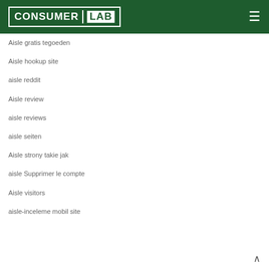[Figure (logo): Consumer Lab logo on dark green header background with hamburger menu icon]
Aisle gratis tegoeden
Aisle hookup site
aisle reddit
Aisle review
aisle reviews
aisle seiten
Aisle strony takie jak
aisle Supprimer le compte
Aisle visitors
aisle-inceleme mobil site